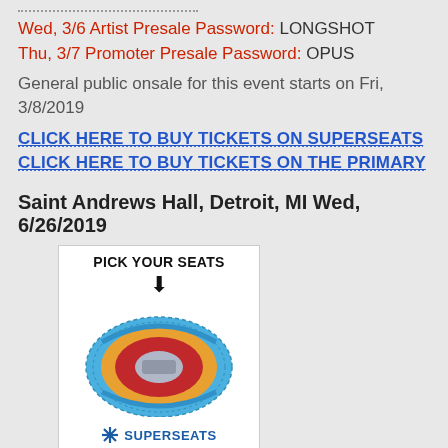Wed, 3/6 Artist Presale Password: LONGSHOT
Thu, 3/7 Promoter Presale Password: OPUS
General public onsale for this event starts on Fri, 3/8/2019
CLICK HERE TO BUY TICKETS ON SUPERSEATS
CLICK HERE TO BUY TICKETS ON THE PRIMARY
Saint Andrews Hall, Detroit, MI Wed, 6/26/2019
[Figure (illustration): PICK YOUR SEATS arena seating map widget showing a circular arena with colored sections (blue outer ring, red inner sections, yellow/orange middle sections, gray center stage) with a down arrow, and SUPERSEATS logo at the bottom]